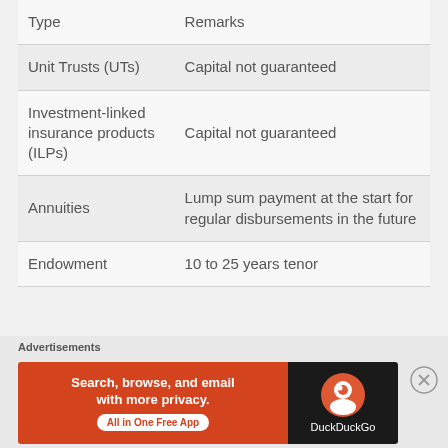| Type | Remarks |
| --- | --- |
| Unit Trusts (UTs) | Capital not guaranteed |
| Investment-linked insurance products (ILPs) | Capital not guaranteed |
| Annuities | Lump sum payment at the start for regular disbursements in the future |
| Endowment | 10 to 25 years tenor |
[Figure (other): DuckDuckGo advertisement banner: 'Search, browse, and email with more privacy. All in One Free App' with DuckDuckGo logo on dark background.]